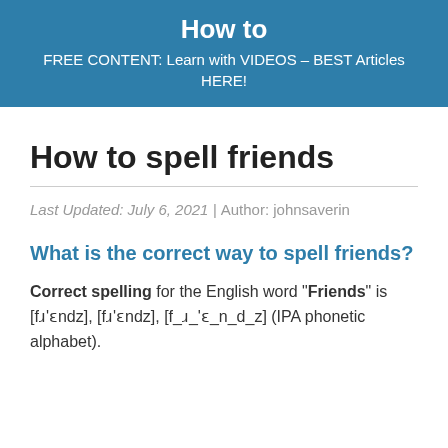How to
FREE CONTENT: Learn with VIDEOS – BEST Articles HERE!
How to spell friends
Last Updated: July 6, 2021 | Author: johnsaverin
What is the correct way to spell friends?
Correct spelling for the English word "Friends" is [fɹ'ɛndz], [fɹ'ɛndz], [f_ɹ_'ɛ_n_d_z] (IPA phonetic alphabet).